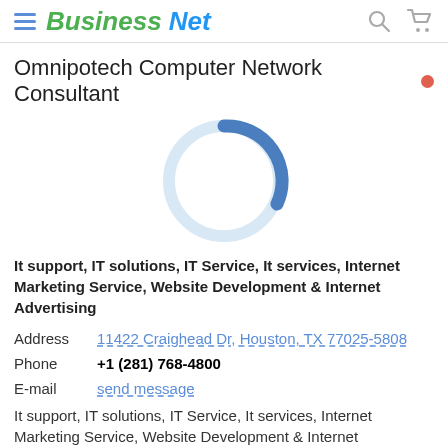Business Net
Omnipotech Computer Network Consultant
It support, IT solutions, IT Service, It services, Internet Marketing Service, Website Development & Internet Advertising
| Address | 11422 Craighead Dr, Houston, TX 77025-5808 |
| Phone | +1 (281) 768-4800 |
| E-mail | send message |
It support, IT solutions, IT Service, It services, Internet Marketing Service, Website Development & Internet Advertising
★★★★☆  Add review